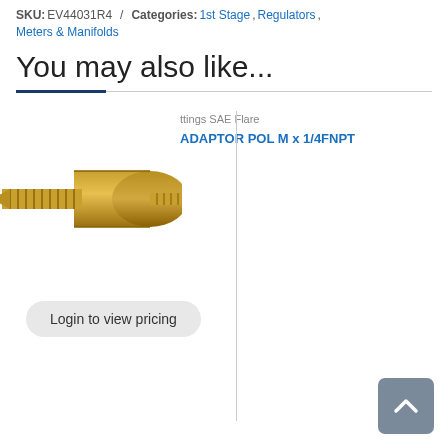SKU: EV44031R4 / Categories: 1st Stage, Regulators, Meters & Manifolds
You may also like...
ttings SAE Flare
ADAPTOR POL M x 1/4FNPT
[Figure (photo): Brass fitting adapter, POL M x 1/4FNPT]
Login to view pricing